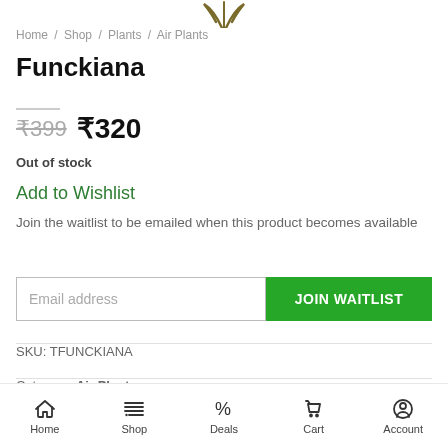[Figure (illustration): Partial plant logo/icon in olive/gold color at the top of the page]
Home / Shop / Plants / Air Plants
Funckiana
₹399  ₹320
Out of stock
Add to Wishlist
Join the waitlist to be emailed when this product becomes available
Email address  JOIN WAITLIST
SKU: TFUNCKIANA
Category: Air Plants
Home  Shop  Deals  Cart  Account